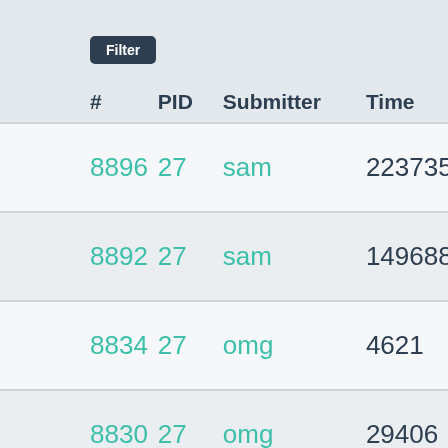| # | PID | Submitter | Time | Memory | Verd |
| --- | --- | --- | --- | --- | --- |
| 8896 | 27 | sam | 223735 | 41496 | TLE |
| 8892 | 27 | sam | 149688 | 54756 | MLE |
| 8834 | 27 | omg | 4621 | 5704 | WA |
| 8830 | 27 | omg | 29406 | 4928 | WA |